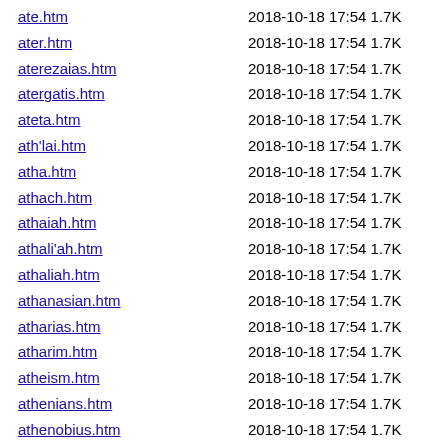ate.htm 2018-10-18 17:54 1.7K
ater.htm 2018-10-18 17:54 1.7K
aterezaias.htm 2018-10-18 17:54 1.7K
atergatis.htm 2018-10-18 17:54 1.7K
ateta.htm 2018-10-18 17:54 1.7K
ath'lai.htm 2018-10-18 17:54 1.7K
atha.htm 2018-10-18 17:54 1.7K
athach.htm 2018-10-18 17:54 1.7K
athaiah.htm 2018-10-18 17:54 1.7K
athali'ah.htm 2018-10-18 17:54 1.7K
athaliah.htm 2018-10-18 17:54 1.7K
athanasian.htm 2018-10-18 17:54 1.7K
atharias.htm 2018-10-18 17:54 1.7K
atharim.htm 2018-10-18 17:54 1.7K
atheism.htm 2018-10-18 17:54 1.7K
athenians.htm 2018-10-18 17:54 1.7K
athenobius.htm 2018-10-18 17:54 1.7K
athens.htm 2018-10-18 17:54 1.7K
athirst.htm 2018-10-18 17:54 1.7K
athlai.htm 2018-10-18 17:54 1.7K
athlete.htm 2018-10-18 17:54 1.7K